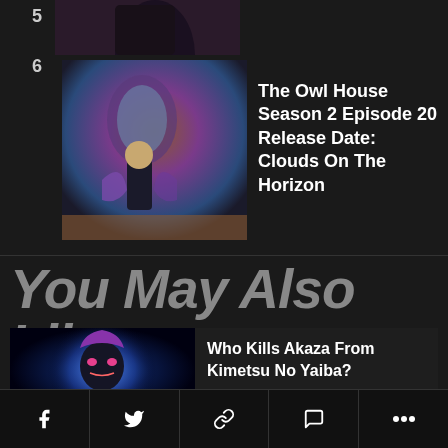5
[Figure (photo): Partial thumbnail image at top, item 5]
[Figure (illustration): Animated character from The Owl House in a colorful room, item 6]
6
The Owl House Season 2 Episode 20 Release Date: Clouds On The Horizon
You May Also Like
[Figure (photo): Akaza character from Kimetsu No Yaiba, with blue glow and dark background]
Who Kills Akaza From Kimetsu No Yaiba?
[Figure (photo): Justine Musk in a living room setting]
Justine Musk Net Worth: How Rich Is Elon Musk's Ex-Wife?
Social share bar with Facebook, Twitter, link, comment, and more icons